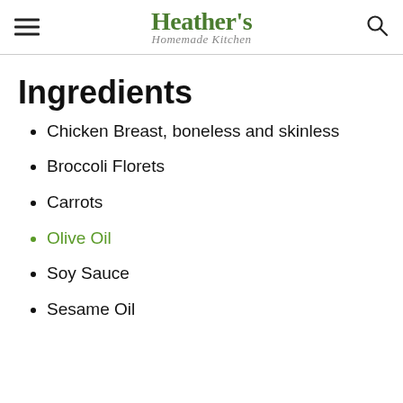Heather's Homemade Kitchen
Ingredients
Chicken Breast, boneless and skinless
Broccoli Florets
Carrots
Olive Oil
Soy Sauce
Sesame Oil